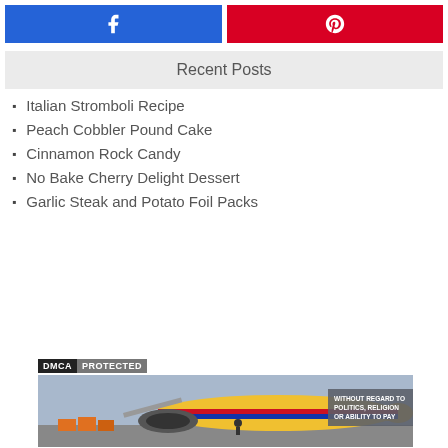[Figure (other): Facebook share button (blue) and Pinterest button (red) side by side]
Recent Posts
Italian Stromboli Recipe
Peach Cobbler Pound Cake
Cinnamon Rock Candy
No Bake Cherry Delight Dessert
Garlic Steak and Potato Foil Packs
[Figure (other): DMCA Protected badge and a photo of cargo being loaded onto a Southwest Airlines airplane with text 'WITHOUT REGARD TO POLITICS, RELIGION OR ABILITY TO PAY']